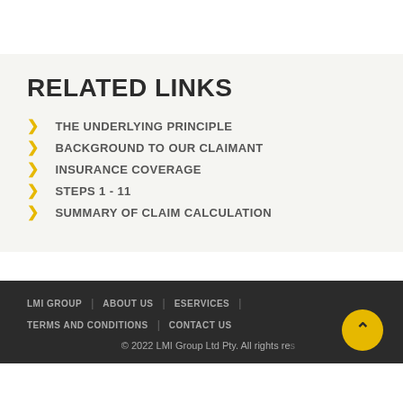RELATED LINKS
THE UNDERLYING PRINCIPLE
BACKGROUND TO OUR CLAIMANT
INSURANCE COVERAGE
STEPS 1 - 11
SUMMARY OF CLAIM CALCULATION
LMI GROUP | ABOUT US | ESERVICES | TERMS AND CONDITIONS | CONTACT US
© 2022 LMI Group Ltd Pty. All rights reserved.